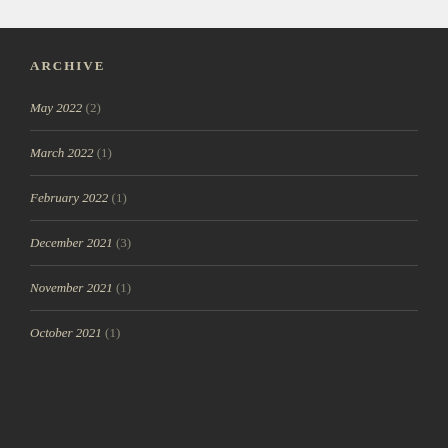ARCHIVE
May 2022 (2)
March 2022 (1)
February 2022 (1)
December 2021 (3)
November 2021 (1)
October 2021 (1)